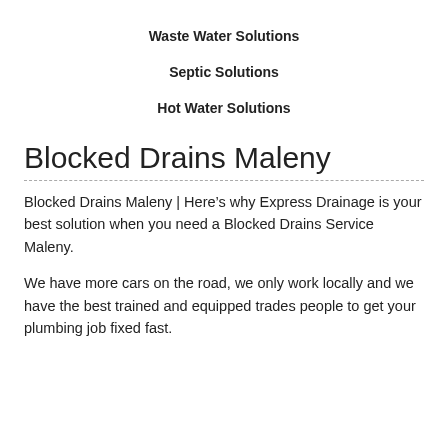Waste Water Solutions
Septic Solutions
Hot Water Solutions
Blocked Drains Maleny
Blocked Drains Maleny | Here’s why Express Drainage is your best solution when you need a Blocked Drains Service Maleny.
We have more cars on the road, we only work locally and we have the best trained and equipped trades people to get your plumbing job fixed fast.